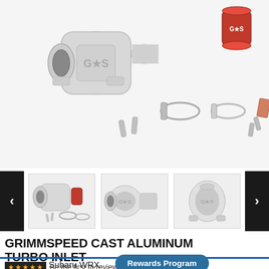[Figure (photo): GrimmSpeed Cast Aluminum Turbo Inlet kit exploded view showing the aluminum inlet pipe, red silicone coupler, hose clamps, and mounting hardware on white background]
[Figure (photo): Thumbnail 1: Full kit with red coupler and clamps]
[Figure (photo): Thumbnail 2: Aluminum turbo inlet side view]
[Figure (photo): Thumbnail 3: Aluminum turbo inlet front view]
GRIMMSPEED CAST ALUMINUM TURBO INLET
2017-2021 Subaru WRX
Rewards Program
Be the first to review this product